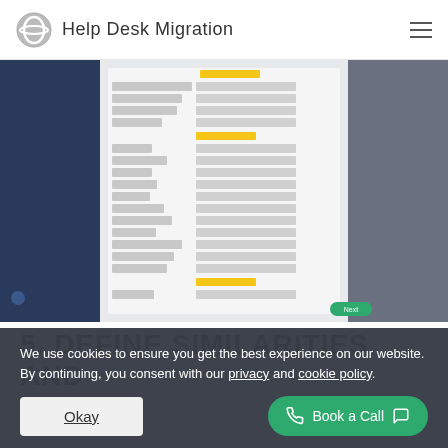Help Desk Migration
[Figure (screenshot): Screenshot of a Help Desk Migration field mapping interface showing various ticket fields being mapped between source and target systems]
5. DEFINE SIMILARITIES AND
We use cookies to ensure you get the best experience on our website. By continuing, you consent with our privacy and cookie policy.
Okay
Book a Call